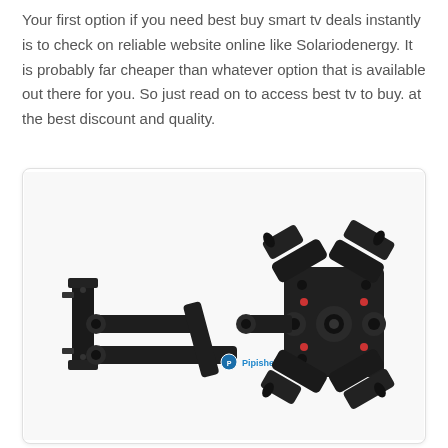Your first option if you need best buy smart tv deals instantly is to check on reliable website online like Solariodenergy. It is probably far cheaper than whatever option that is available out there for you. So just read on to access best tv to buy. at the best discount and quality.
[Figure (photo): A Pipishell brand full-motion TV wall mount bracket with articulating arm, shown extended and angled, with the mounting plate visible on the left and the VESA plate on the right. The product is black metal with the Pipishell logo in blue.]